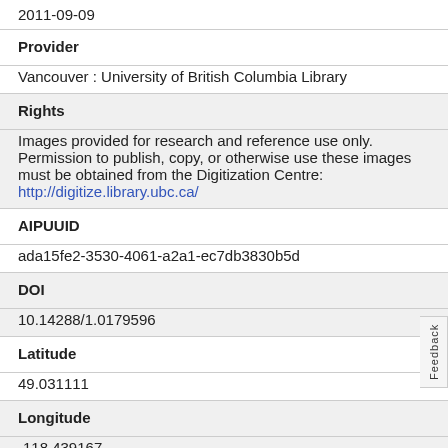2011-09-09
Provider
Vancouver : University of British Columbia Library
Rights
Images provided for research and reference use only. Permission to publish, copy, or otherwise use these images must be obtained from the Digitization Centre: http://digitize.library.ubc.ca/
AIPUUID
ada15fe2-3530-4061-a2a1-ec7db3830b5d
DOI
10.14288/1.0179596
Latitude
49.031111
Longitude
-118.439167